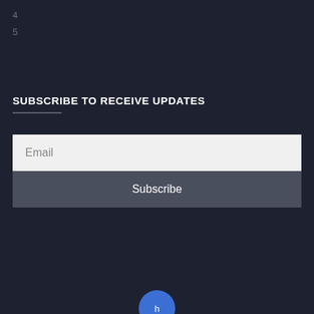4
5
SUBSCRIBE TO RECEIVE UPDATES
[Figure (other): Email input field with placeholder text 'Email' on light background]
[Figure (other): Subscribe button with dark gray background and white text 'Subscribe']
[Figure (other): Partially visible blue circular button at bottom center of page]